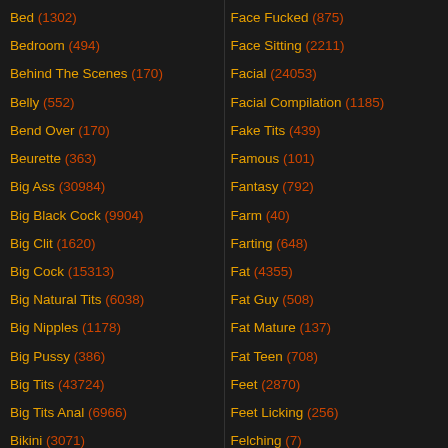Bed (1302)
Bedroom (494)
Behind The Scenes (170)
Belly (552)
Bend Over (170)
Beurette (363)
Big Ass (30984)
Big Black Cock (9904)
Big Clit (1620)
Big Cock (15313)
Big Natural Tits (6038)
Big Nipples (1178)
Big Pussy (386)
Big Tits (43724)
Big Tits Anal (6966)
Bikini (3071)
Face Fucked (875)
Face Sitting (2211)
Facial (24053)
Facial Compilation (1185)
Fake Tits (439)
Famous (101)
Fantasy (792)
Farm (40)
Farting (648)
Fat (4355)
Fat Guy (508)
Fat Mature (137)
Fat Teen (708)
Feet (2870)
Feet Licking (256)
Felching (7)